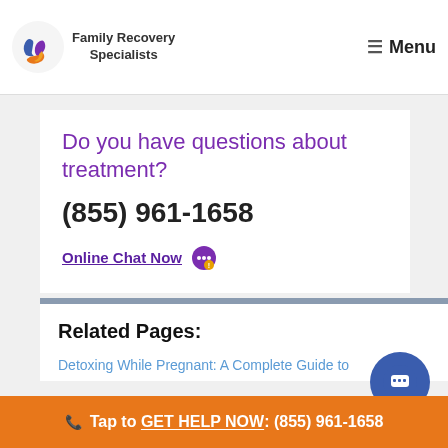Family Recovery Specialists | Menu
Do you have questions about treatment?
(855) 961-1658
Online Chat Now 💬
Related Pages:
Detoxing While Pregnant: A Complete Guide to
📞 Tap to GET HELP NOW: (855) 961-1658